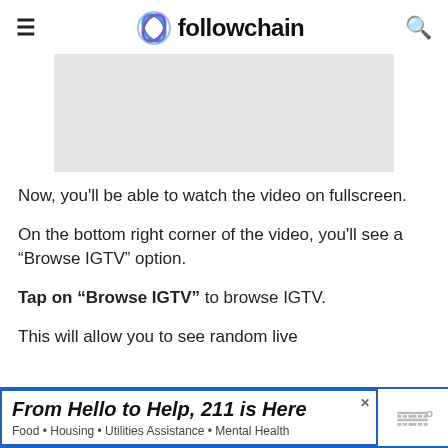followchain
[Figure (screenshot): Gray placeholder image area representing a video screenshot]
Now, you'll be able to watch the video on fullscreen.
On the bottom right corner of the video, you'll see a “Browse IGTV” option.
Tap on “Browse IGTV” to browse IGTV.
This will allow you to see random live
[Figure (other): Advertisement banner: From Hello to Help, 211 is Here. Food • Housing • Utilities Assistance • Mental Health]